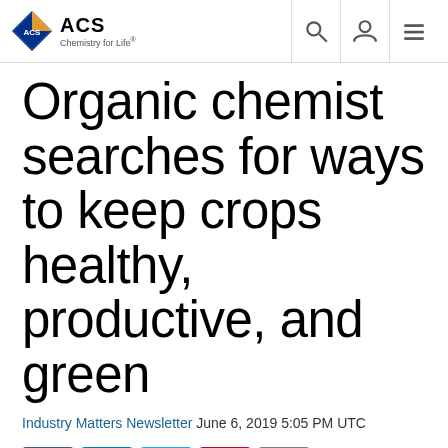ACS Chemistry for Life
Organic chemist searches for ways to keep crops healthy, productive, and green
Industry Matters Newsletter June 6, 2019 5:05 PM UTC
[Figure (other): Social media sharing buttons: Facebook, LinkedIn, Twitter, Pinterest, Email]